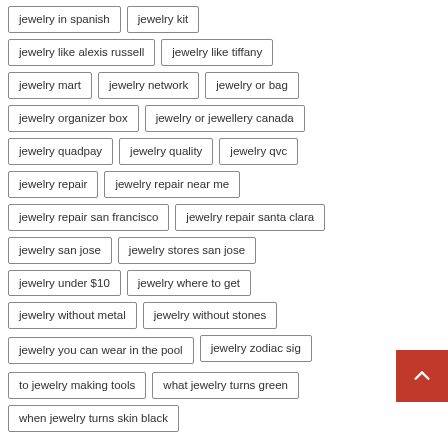jewelry in spanish
jewelry kit
jewelry like alexis russell
jewelry like tiffany
jewelry mart
jewelry network
jewelry or bag
jewelry organizer box
jewelry or jewellery canada
jewelry quadpay
jewelry quality
jewelry qvc
jewelry repair
jewelry repair near me
jewelry repair san francisco
jewelry repair santa clara
jewelry san jose
jewelry stores san jose
jewelry under $10
jewelry where to get
jewelry without metal
jewelry without stones
jewelry you can wear in the pool
jewelry zodiac sig
to jewelry making tools
what jewelry turns green
when jewelry turns skin black